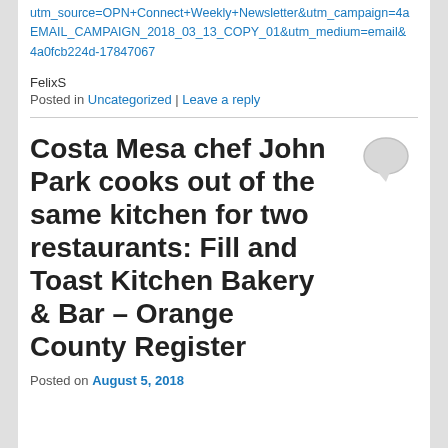utm_source=OPN+Connect+Weekly+Newsletter&utm_campaign=4a EMAIL_CAMPAIGN_2018_03_13_COPY_01&utm_medium=email& 4a0fcb224d-17847067
FelixS
Posted in Uncategorized | Leave a reply
Costa Mesa chef John Park cooks out of the same kitchen for two restaurants: Fill and Toast Kitchen Bakery & Bar – Orange County Register
Posted on August 5, 2018